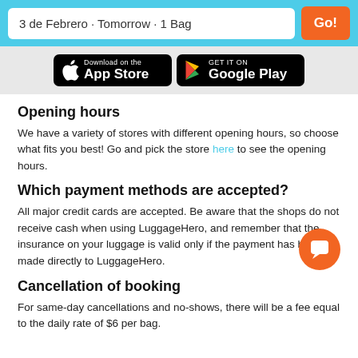3 de Febrero · Tomorrow · 1 Bag
[Figure (screenshot): App Store and Google Play download badges on a grey background]
Opening hours
We have a variety of stores with different opening hours, so choose what fits you best! Go and pick the store here to see the opening hours.
Which payment methods are accepted?
All major credit cards are accepted. Be aware that the shops do not receive cash when using LuggageHero, and remember that the insurance on your luggage is valid only if the payment has been made directly to LuggageHero.
Cancellation of booking
For same-day cancellations and no-shows, there will be a fee equal to the daily rate of $6 per bag.